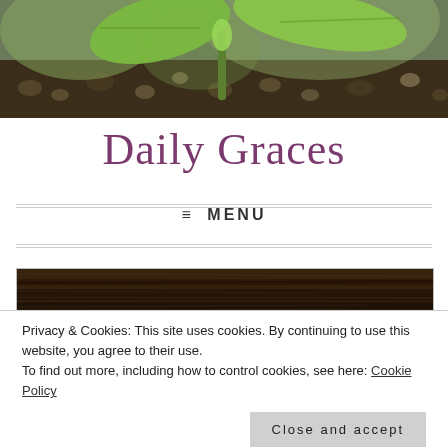[Figure (photo): Header banner photo of a green seedling sprouting from dark soil with small rocks, close-up macro shot with blurred background]
Daily Graces
≡ MENU
[Figure (photo): Partial photo of weathered dark wood log texture, visible at top of article area]
Privacy & Cookies: This site uses cookies. By continuing to use this website, you agree to their use.
To find out more, including how to control cookies, see here: Cookie Policy
Close and accept